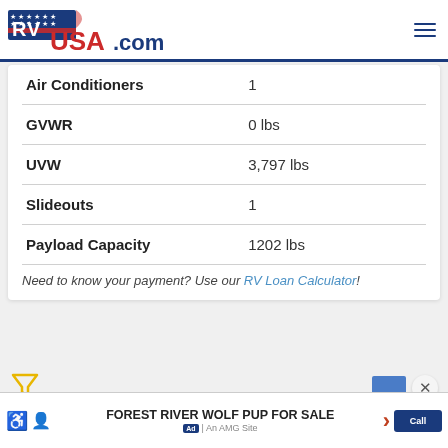RVUSA.com by NetSource media
|  |  |
| --- | --- |
| Air Conditioners | 1 |
| GVWR | 0 lbs |
| UVW | 3,797 lbs |
| Slideouts | 1 |
| Payload Capacity | 1202 lbs |
Need to know your payment? Use our RV Loan Calculator!
FOREST RIVER WOLF PUP FOR SALE | Ad | An AMG Site